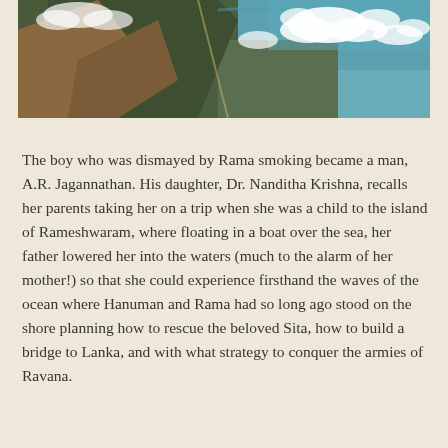[Figure (photo): Aerial photograph showing a coastal landscape with forests, water, and clouds. The view appears to be from high altitude showing land meeting sea with scattered white clouds.]
The boy who was dismayed by Rama smoking became a man, A.R. Jagannathan. His daughter, Dr. Nanditha Krishna, recalls her parents taking her on a trip when she was a child to the island of Rameshwaram, where floating in a boat over the sea, her father lowered her into the waters (much to the alarm of her mother!) so that she could experience firsthand the waves of the ocean where Hanuman and Rama had so long ago stood on the shore planning how to rescue the beloved Sita, how to build a bridge to Lanka, and with what strategy to conquer the armies of Ravana.